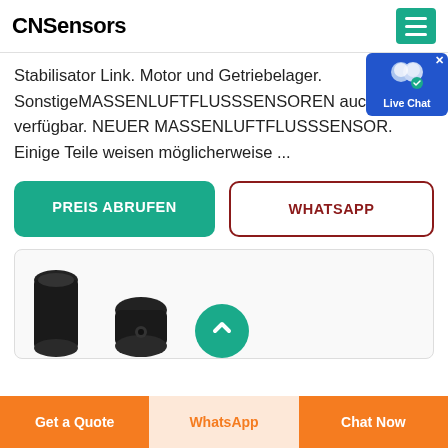CNSensors
Stabilisator Link. Motor und Getriebelager. SonstigeMASSENLUFTFLUSSSENSOREN auch verfügbar. NEUER MASSENLUFTFLUSSSENSOR. Einige Teile weisen möglicherweise ...
PREIS ABRUFEN
WHATSAPP
[Figure (photo): Product photo showing black cylindrical sensor components]
Get a Quote
WhatsApp
Chat Now